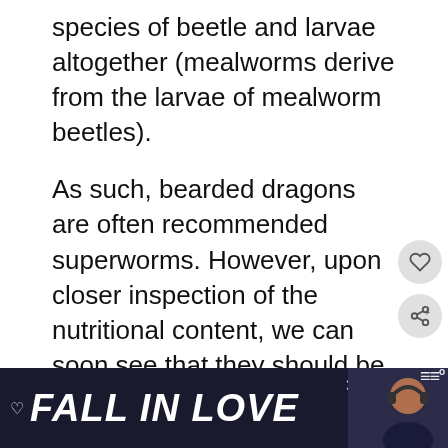species of beetle and larvae altogether (mealworms derive from the larvae of mealworm beetles).
As such, bearded dragons are often recommended superworms. However, upon closer inspection of the nutritional content, we can soon see that they should be provided in moderation, and in limited serving sizes.
[Figure (screenshot): Advertisement banner at bottom of page showing 'FALL IN LOVE' text with a person wearing headphones, dark background, with heart icon and Tidal music service logo]